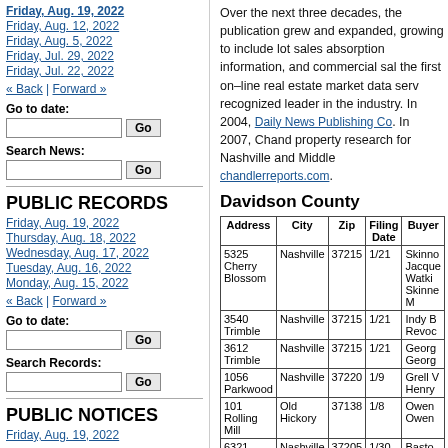Friday, Aug. 19, 2022
Friday, Aug. 12, 2022
Friday, Aug. 5, 2022
Friday, Jul. 29, 2022
Friday, Jul. 22, 2022
« Back | Forward »
Go to date:
Search News:
PUBLIC RECORDS
Friday, Aug. 19, 2022
Thursday, Aug. 18, 2022
Wednesday, Aug. 17, 2022
Tuesday, Aug. 16, 2022
Monday, Aug. 15, 2022
« Back | Forward »
Go to date:
Search Records:
PUBLIC NOTICES
Friday, Aug. 19, 2022
Over the next three decades, the publication grew and expanded, growing to include lot sales absorption information, and commercial sales the first on–line real estate market data service recognized leader in the industry. In 2004, Daily News Publishing Co. In 2007, Chandler property research for Nashville and Middle chandlerreports.com.
Davidson County
| Address | City | Zip | Filing Date | Buyer |
| --- | --- | --- | --- | --- |
| 5325 Cherry Blossom | Nashville | 37215 | 1/21 | Skinno Jacque Watki Skinne M |
| 3540 Trimble | Nashville | 37215 | 1/21 | Indy B Revoc |
| 3612 Trimble | Nashville | 37215 | 1/21 | Georg Georg |
| 1056 Parkwood | Nashville | 37220 | 1/9 | Grell V Henry |
| 101 Rolling Mill | Old Hickory | 37138 | 1/8 | Owen Owen |
| 6321 Valley | Nashville | 37205 | 1/30 | Basto |